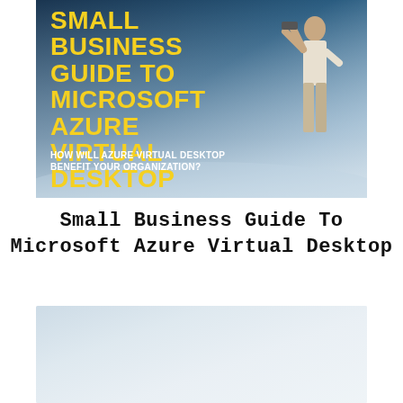[Figure (illustration): Book cover image showing 'Small Business Guide To Microsoft Azure Virtual Desktop' with yellow bold title text on a blue/dark background, a person standing looking into the distance, and subtitle 'HOW WILL AZURE VIRTUAL DESKTOP BENEFIT YOUR ORGANIZATION?']
Small Business Guide To Microsoft Azure Virtual Desktop
[Figure (illustration): Faded/washed out secondary image panel, light blue-grey background, partially visible content]